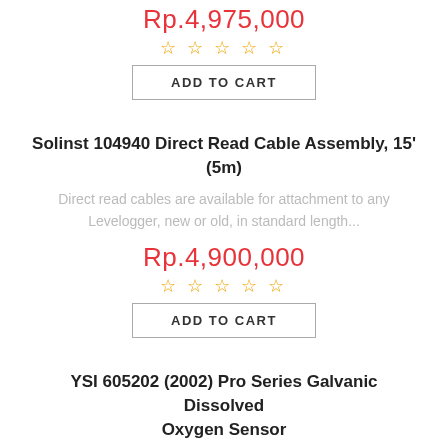Rp.4,975,000
☆ ☆ ☆ ☆ ☆
ADD TO CART
Solinst 104940 Direct Read Cable Assembly, 15' (5m)
Direct read cables are available for attachment to any Levelogger, new or old, in standard length...
Rp.4,900,000
☆ ☆ ☆ ☆ ☆
ADD TO CART
YSI 605202 (2002) Pro Series Galvanic Dissolved Oxygen Sensor
Galvanic sensor for the Professional Plus and Pro20 DO instruments. Easy user-replaceble sensor allo...